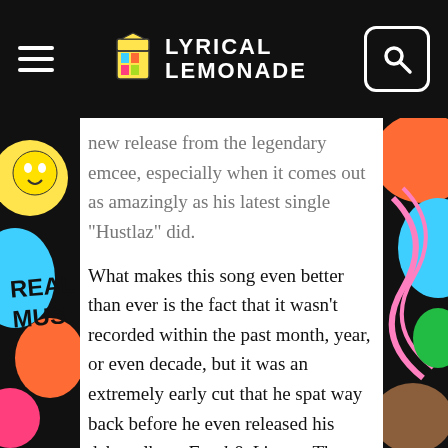LYRICAL LEMONADE
new release from the legendary emcee, especially when it comes out as amazingly as his latest single “Hustlaz” did.
What makes this song even better than ever is the fact that it wasn’t recorded within the past month, year, or even decade, but it was an extremely early cut that he spat way back before he even released his debut album Food & Liquor. That means that it contains the timeless horn melodies and pitched-up vocal samples that were popularized back in the day, but it almost